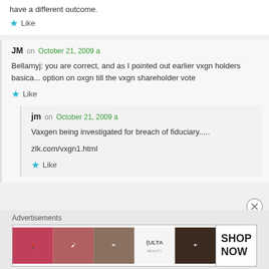have a different outcome.
Like
JM on October 21, 2009
Bellamyj: you are correct, and as I pointed out earlier vxgn holders basica... option on oxgn till the vxgn shareholder vote
Like
jm on October 21, 2009
Vaxgen being investigated for breach of fiduciary.....
zlk.com/vxgn1.html
Like
Advertisements